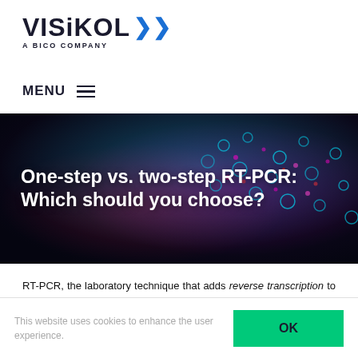[Figure (logo): Visikol logo with double chevron arrows (blue and green) and tagline 'A BICO COMPANY']
MENU ≡
[Figure (photo): Fluorescence microscopy image showing cells stained in cyan, magenta/pink, and red colors on a dark background. Overlaid white bold title text: 'One-step vs. two-step RT-PCR: Which should you choose?']
RT-PCR, the laboratory technique that adds reverse transcription to the already game-changing polymerase chain reaction, has become an indispensable tool
This website uses cookies to enhance the user experience.